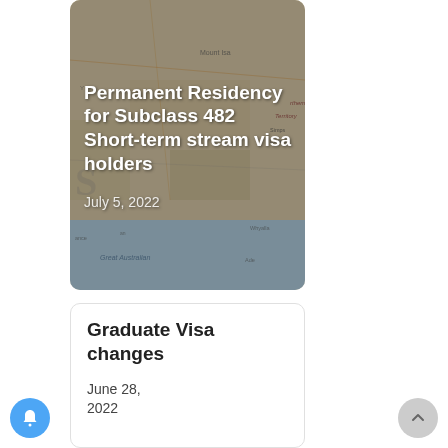[Figure (photo): Map of Australia background with text overlay showing article card: 'Permanent Residency for Subclass 482 Short-term stream visa holders' dated July 5, 2022]
Graduate Visa changes
June 28, 2022